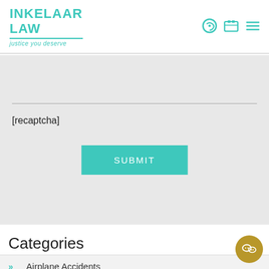[Figure (logo): Inkelaar Law logo with teal text and tagline 'justice you deserve']
[Figure (screenshot): Navigation icons: phone, fax, and hamburger menu in teal]
[recaptcha]
[Figure (screenshot): SUBMIT button in teal]
Categories
Airplane Accidents
Auto Accidents